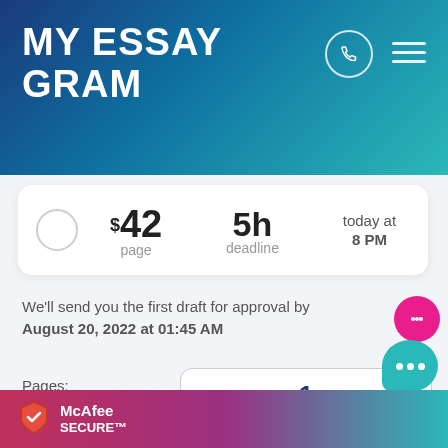MY ESSAY GRAM
$42 page | 5h deadline | today at 8 PM
We'll send you the first draft for approval by August 20, 2022 at 01:45 AM
Pages:
275 words
Total price: $40
Continue to order
[Figure (logo): McAfee SECURE logo in footer bar]